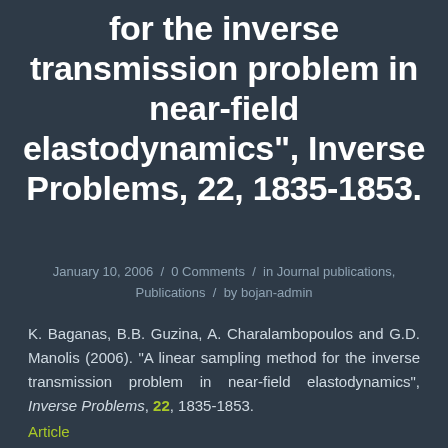for the inverse transmission problem in near-field elastodynamics", Inverse Problems, 22, 1835-1853.
January 10, 2006 / 0 Comments / in Journal publications, Publications / by bojan-admin
K. Baganas, B.B. Guzina, A. Charalambopoulos and G.D. Manolis (2006). “A linear sampling method for the inverse transmission problem in near-field elastodynamics", Inverse Problems, 22, 1835-1853. Article